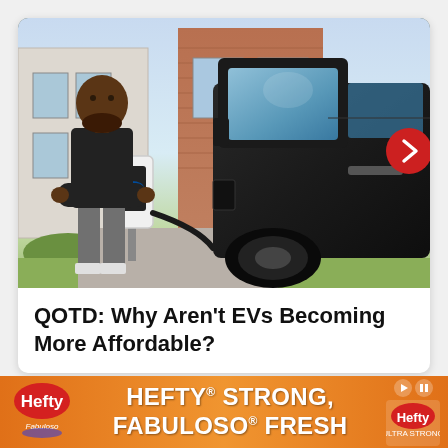[Figure (photo): A man standing next to a black Ford F-150 Lightning electric truck with a Ford home charging unit mounted on a post in front of a residential house. The charger cable connects to the truck.]
QOTD: Why Aren't EVs Becoming More Affordable?
[Figure (other): Advertisement banner for Hefty and Fabuloso products with orange background reading 'HEFTY STRONG, FABULOSO FRESH']